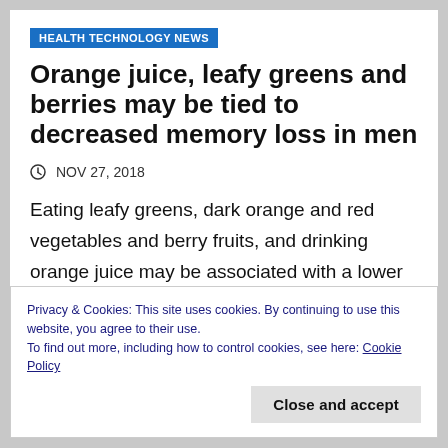HEALTH TECHNOLOGY NEWS
Orange juice, leafy greens and berries may be tied to decreased memory loss in men
NOV 27, 2018
Eating leafy greens, dark orange and red vegetables and berry fruits, and drinking orange juice may be associated with a lower risk of memory loss over time in men, according...
Privacy & Cookies: This site uses cookies. By continuing to use this website, you agree to their use.
To find out more, including how to control cookies, see here: Cookie Policy
Close and accept